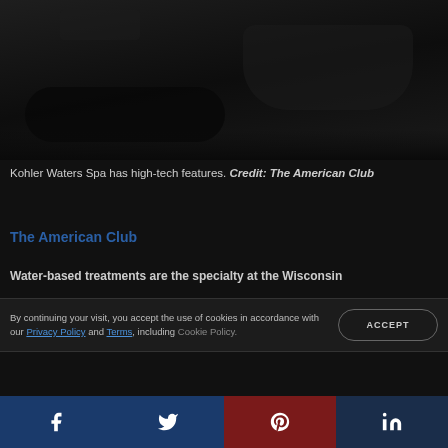[Figure (photo): Dark interior spa photo showing a massage table or bathtub area in a dimly lit room]
Kohler Waters Spa has high-tech features. Credit: The American Club
The American Club
Water-based treatments are the specialty at the Wisconsin
By continuing your visit, you accept the use of cookies in accordance with our Privacy Policy and Terms, including Cookie Policy.
ACCEPT